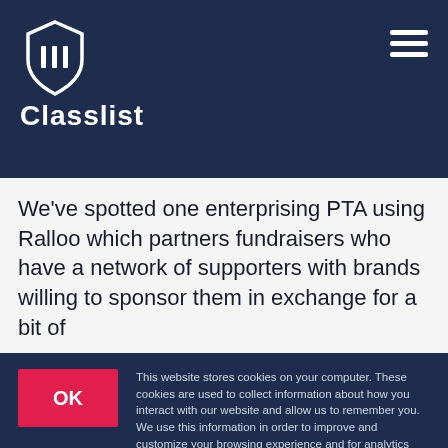[Figure (logo): Classlist logo with shield icon containing three vertical bars and text 'Classlist' below, white on dark navy background]
We've spotted one enterprising PTA using Ralloo which partners fundraisers who have a network of supporters with brands willing to sponsor them in exchange for a bit of
OK
This website stores cookies on your computer. These cookies are used to collect information about how you interact with our website and allow us to remember you. We use this information in order to improve and customize your browsing experience and for analytics and metrics about our visitors both on this website and other media. To find out more about the cookies we use, see our Privacy Policy.